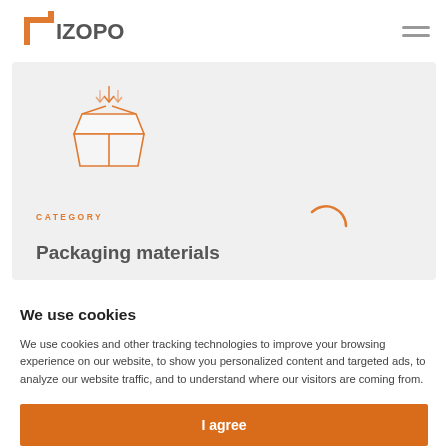[Figure (logo): IZOPOL company logo with orange bracket/arrow mark on the left of grey bold text]
[Figure (screenshot): Hero banner with light grey background, open box icon illustration in orange outline, CATEGORY label in orange uppercase, and 'Packaging materials' heading in dark grey]
We use cookies
We use cookies and other tracking technologies to improve your browsing experience on our website, to show you personalized content and targeted ads, to analyze our website traffic, and to understand where our visitors are coming from.
I agree